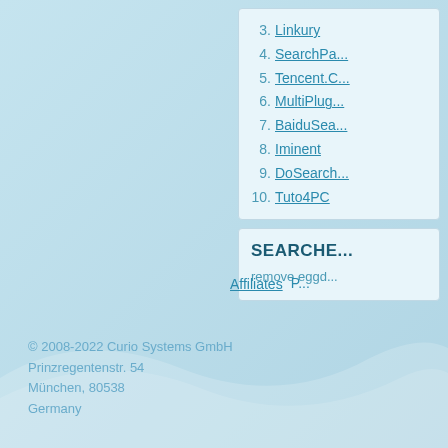3. Linkury
4. SearchPa...
5. Tencent.C...
6. MultiPlug...
7. BaiduSea...
8. Iminent
9. DoSearch...
10. Tuto4PC
SEARCHE...
remove eggd...
Affiliates
© 2008-2022 Curio Systems GmbH
Prinzregentenstr. 54
München, 80538
Germany